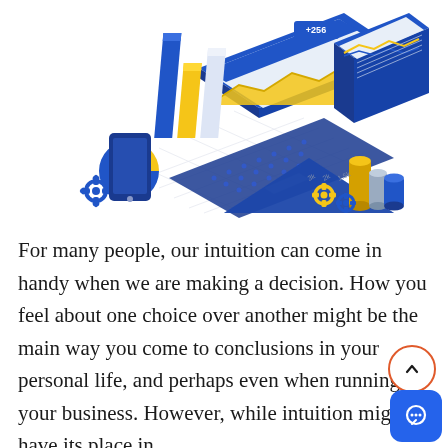[Figure (illustration): Isometric illustration of data analytics dashboard with bar charts, area charts, pie chart, line graphs, computer screens, keyboard, phone, gears, and cylindrical bar elements in blue, yellow/gold, and white color scheme]
For many people, our intuition can come in handy when we are making a decision. How you feel about one choice over another might be the main way you come to conclusions in your personal life, and perhaps even when running your business. However, while intuition might have its place in